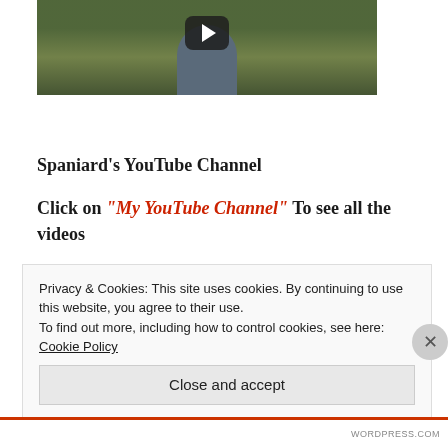[Figure (screenshot): Video thumbnail showing a person standing outdoors on a path with grass, with a YouTube play button overlay]
Spaniard's YouTube Channel
Click on "My YouTube Channel" To see all the videos
Privacy & Cookies: This site uses cookies. By continuing to use this website, you agree to their use.
To find out more, including how to control cookies, see here: Cookie Policy
Close and accept